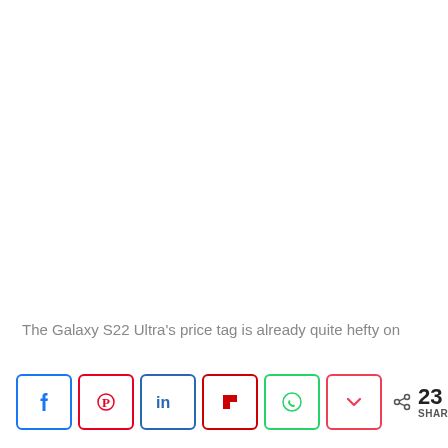The Galaxy S22 Ultra’s price tag is already quite hefty on
[Figure (infographic): Social media share buttons row: Facebook, Pinterest, LinkedIn, Flipboard, WhatsApp, Pocket, and share count showing 23 SHARES]